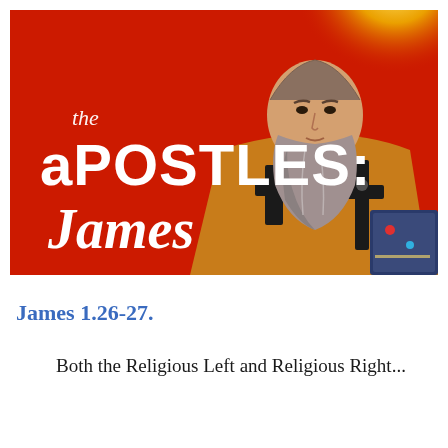[Figure (illustration): Red background illustration showing a Byzantine-style icon of an apostle (James) with a grey beard, golden vestments, and holding a cross. Text overlay reads 'the APOSTLES: James' in white decorative lettering with a yellow halo behind the figure.]
James 1.26-27.
Both the Religious Left and Religious Right...